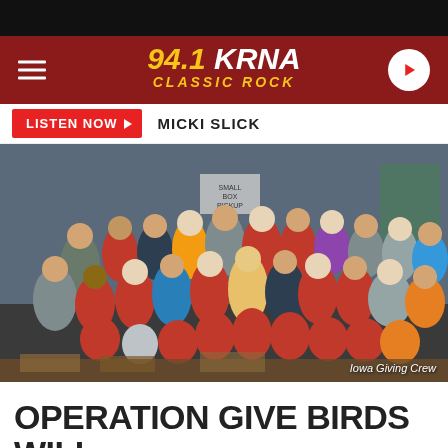[Figure (photo): 94.1 KRNA Classic Rock radio station website header with logo on dark red background, hamburger menu on left, play button on right]
LISTEN NOW  MICKI SLICK
[Figure (photo): Group photo of Iowa Giving Crew volunteers in a warehouse setting, many wearing red shirts]
Iowa Giving Crew
OPERATION GIVE BIRDS WILL